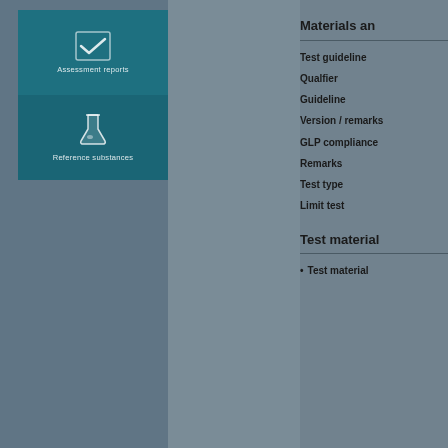[Figure (illustration): Teal card with checkmark icon and label 'Assessment reports']
[Figure (illustration): Teal card with flask/beaker icon and label 'Reference substances']
Materials an
Test guideline
Qualfier
Guideline
Version / remarks
GLP compliance
Remarks
Test type
Limit test
Test material
Test material